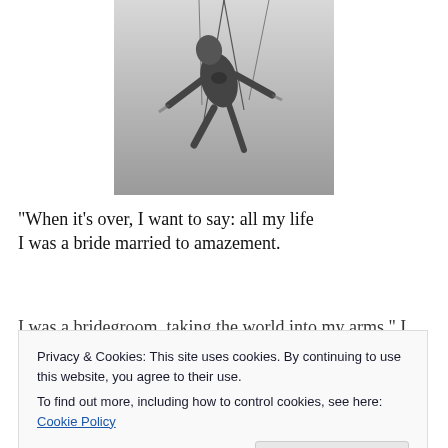[Figure (photo): Black and white photo of a person suspended in the air by ropes or cables, appears to be aerial acrobatics or trapeze, shot from below looking up]
“When it’s over, I want to say: all my life I was a bride married to amazement. I was a bridegroom, taking the world into my arms.”
Privacy & Cookies: This site uses cookies. By continuing to use this website, you agree to their use. To find out more, including how to control cookies, see here: Cookie Policy
Close and accept
I and this — To be in it and it...